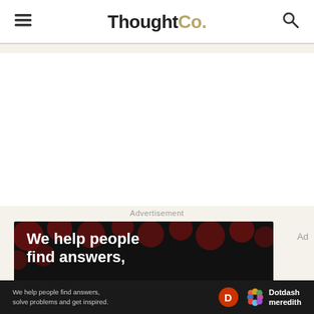ThoughtCo.
[Figure (other): White content area placeholder]
Advertisement
[Figure (other): Advertisement banner: black background with dark red dot pattern. Text reads 'We help people find answers,']
[Figure (other): Bottom bar: 'We help people find answers, solve problems and get inspired.' with Dotdash Meredith logo]